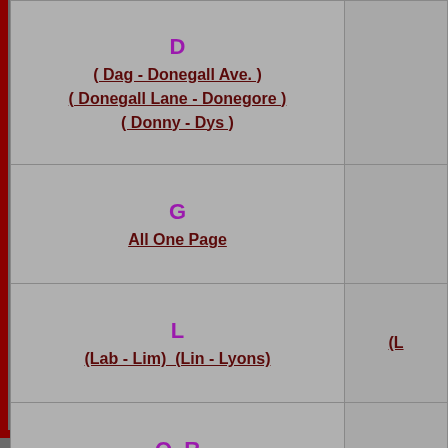| D
( Dag - Donegall Ave. )
( Donegall Lane - Donegore )
( Donny - Dys ) |  |
| G
All One Page |  |
| L
(Lab - Lim)  (Lin - Lyons) | (L...) |
| Q  R
All One Page |  |
|  |  |
|  |  |
|  |  |